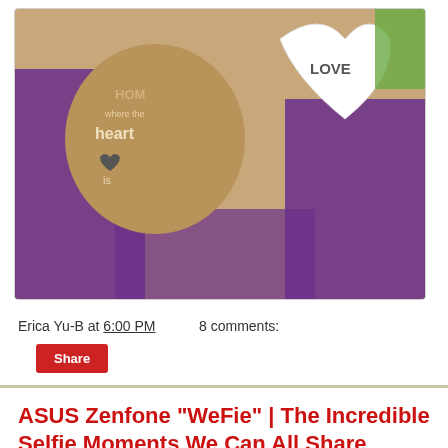[Figure (photo): Photo of wooden heart-shaped decorations with text 'Home is where the heart is' and 'LOVE' on a purple background with wood surface]
Erica Yu-B at 6:00 PM    8 comments:
Share
ASUS Zenfone "WeFie" | The Incredible Selfie Moments We Can All Share
In 2015, the ASUS Zenfone Selfie made its grand entrance into the tech and lifestyle scene, gaining huge fanfare among both hardcore tech media and young, fashion-forward females.
However, the unique fusion between the worlds of lifestyle